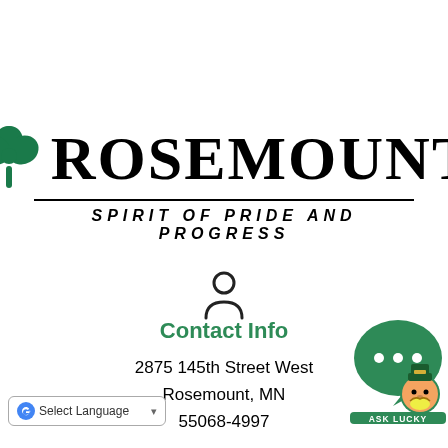[Figure (logo): Rosemount city logo with shamrock/clover leaf icon and text ROSEMOUNT in large serif font, with tagline SPIRIT OF PRIDE AND PROGRESS below a horizontal rule]
[Figure (illustration): Person/user silhouette icon in dark color]
Contact Info
2875 145th Street West
Rosemount, MN
55068-4997
[Figure (illustration): Ask Lucky chat bubble with leprechaun character, green speech bubble with dots and Ask Lucky label]
[Figure (illustration): Select Language Google Translate widget]